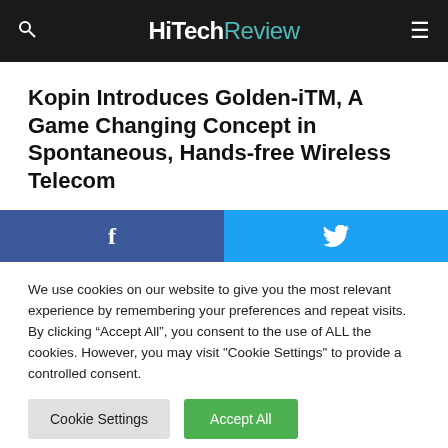HiTechReview
Kopin Introduces Golden-iTM, A Game Changing Concept in Spontaneous, Hands-free Wireless Telecom
[Figure (other): Social sharing buttons: Facebook (blue) and Twitter (light blue) side by side]
We use cookies on our website to give you the most relevant experience by remembering your preferences and repeat visits. By clicking "Accept All", you consent to the use of ALL the cookies. However, you may visit "Cookie Settings" to provide a controlled consent.